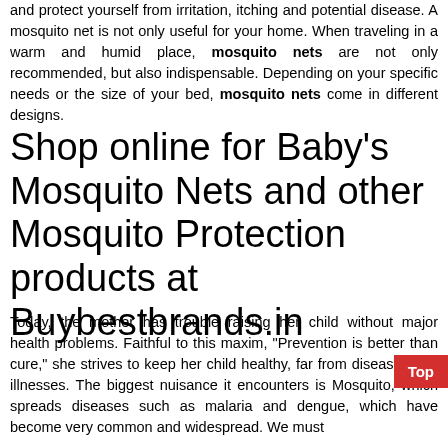and protect yourself from irritation, itching and potential disease. A mosquito net is not only useful for your home. When traveling in a warm and humid place, mosquito nets are not only recommended, but also indispensable. Depending on your specific needs or the size of your bed, mosquito nets come in different designs.
Shop online for Baby's Mosquito Nets and other Mosquito Protection products at Buybestbrands.in
Today, the mother has trouble raising her child without major health problems. Faithful to this maxim, "Prevention is better than cure," she strives to keep her child healthy, far from diseases and illnesses. The biggest nuisance it encounters is Mosquito, which spreads diseases such as malaria and dengue, which have become very common and widespread. We must